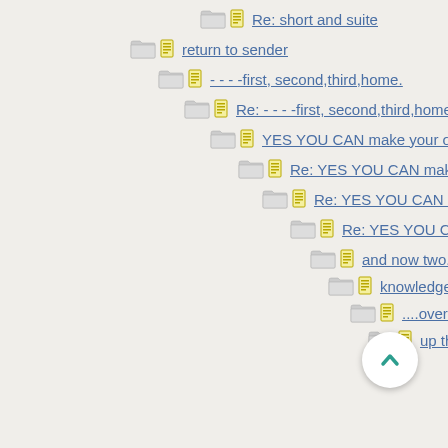Re: short and suite
return to sender
- - - -first, second,third,home.
Re: - - - -first, second,third,home.
YES YOU CAN make your own
Re: YES YOU CAN make yo
Re: YES YOU CAN make
Re: YES YOU CAN mak
and now two.....
knowledge is worth
....over the fence
up the flagpole